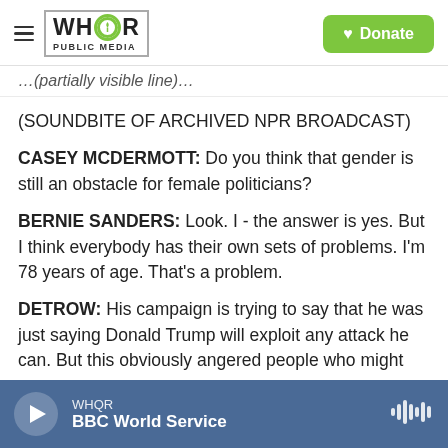WHQR PUBLIC MEDIA | Donate
(partially visible cut-off text at top)
(SOUNDBITE OF ARCHIVED NPR BROADCAST)
CASEY MCDERMOTT: Do you think that gender is still an obstacle for female politicians?
BERNIE SANDERS: Look. I - the answer is yes. But I think everybody has their own sets of problems. I'm 78 years of age. That's a problem.
DETROW: His campaign is trying to say that he was just saying Donald Trump will exploit any attack he can. But this obviously angered people who might (cut off)
WHQR | BBC World Service